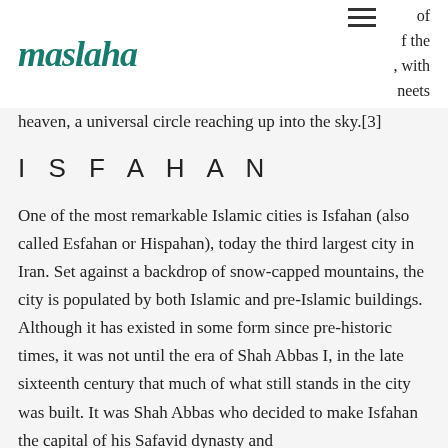maslaha
of the n, with neets
heaven, a universal circle reaching up into the sky.[3]
ISFAHAN
One of the most remarkable Islamic cities is Isfahan (also called Esfahan or Hispahan), today the third largest city in Iran. Set against a backdrop of snow-capped mountains, the city is populated by both Islamic and pre-Islamic buildings. Although it has existed in some form since pre-historic times, it was not until the era of Shah Abbas I, in the late sixteenth century that much of what still stands in the city was built. It was Shah Abbas who decided to make Isfahan the capital of his Safavid dynasty and